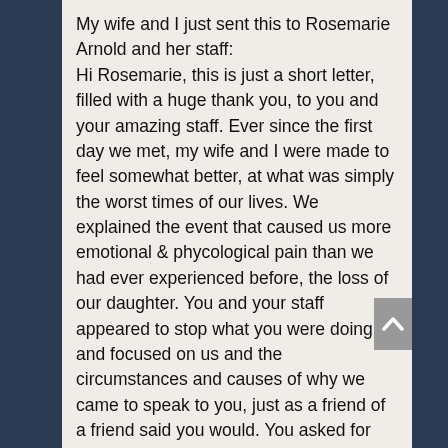My wife and I just sent this to Rosemarie Arnold and her staff: Hi Rosemarie, this is just a short letter, filled with a huge thank you, to you and your amazing staff. Ever since the first day we met, my wife and I were made to feel somewhat better, at what was simply the worst times of our lives. We explained the event that caused us more emotional & phycological pain than we had ever experienced before, the loss of our daughter. You and your staff appeared to stop what you were doing and focused on us and the circumstances and causes of why we came to speak to you, just as a friend of a friend said you would. You asked for nothing but the truth from us and gave us everything in return. You set expectations very accurately from day one, promising nothing but to do the best you and your staff could do for our family. You